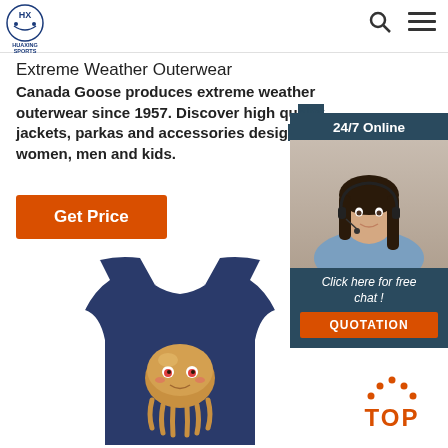HUAXING SPORTS
Extreme Weather Outerwear
Canada Goose produces extreme weather outerwear since 1957. Discover high quality jackets, parkas and accessories designed for women, men and kids.
Get Price
[Figure (photo): 24/7 Online customer service chat widget with photo of smiling woman with headset, and QUOTATION button]
[Figure (photo): Navy blue sleeveless vest with cartoon jellyfish/octopus character on front]
[Figure (other): TOP navigation button with orange dots and text]